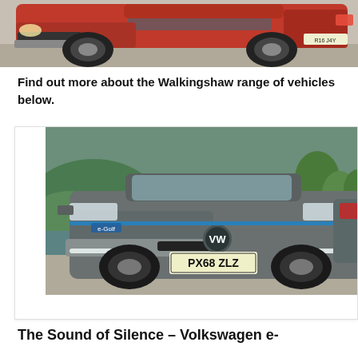[Figure (photo): Partial view of a red SUV/crossover vehicle photographed on gravel, showing front and side. UK registration plate partially visible.]
Find out more about the Walkingshaw range of vehicles below.
[Figure (photo): Front view of a grey Volkswagen e-Golf electric car with registration plate PX68 ZLZ, photographed outdoors near a lake with hills and trees in the background.]
The Sound of Silence – Volkswagen e-